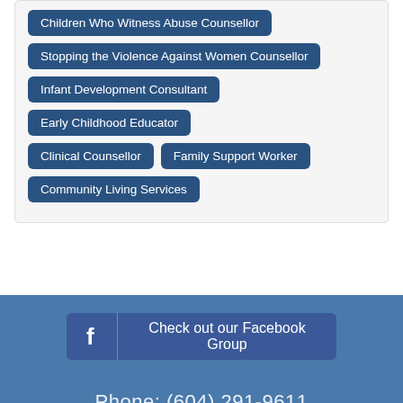Children Who Witness Abuse Counsellor
Stopping the Violence Against Women Counsellor
Infant Development Consultant
Early Childhood Educator
Clinical Counsellor
Family Support Worker
Community Living Services
[Figure (logo): Facebook group button with 'f' icon and text 'Check out our Facebook Group']
Phone: (604) 291-9611
Toll-Free: 1-800-663-1674
Email: